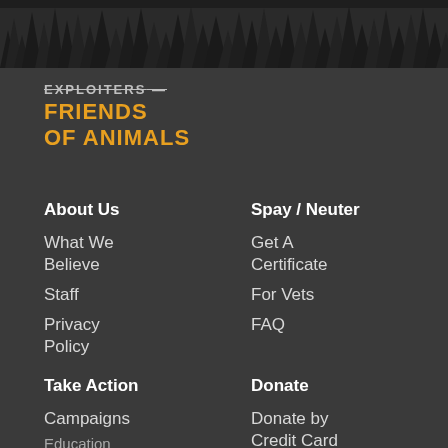[Figure (illustration): Dark silhouette treeline / forest skyline banner across the top of the page against a dark background]
EXPLOITERS (strikethrough) FRIENDS of ANIMALS
About Us
What We Believe
Staff
Privacy Policy
Spay / Neuter
Get A Certificate
For Vets
FAQ
Take Action
Campaigns
Education
Donate
Donate by Credit Card